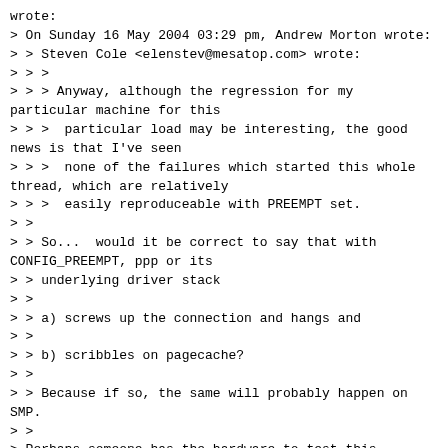wrote:
> On Sunday 16 May 2004 03:29 pm, Andrew Morton wrote:
> > Steven Cole <elenstev@mesatop.com> wrote:
> > >
> > > Anyway, although the regression for my particular machine for this
> > >  particular load may be interesting, the good news is that I've seen
> > >  none of the failures which started this whole thread, which are relatively
> > >  easily reproduceable with PREEMPT set.
> >
> > So...  would it be correct to say that with CONFIG_PREEMPT, ppp or its
> > underlying driver stack
> >
> > a) screws up the connection and hangs and
> >
> > b) scribbles on pagecache?
> >
> > Because if so, the same will probably happen on SMP.
> >
> Perhaps someone has the hardware to test this.
>
> To summarize my experience with the past 24 hours of testing:
> Without PREEMPT , everything is rock solid.

so we've two separate problems: the first is the ppp